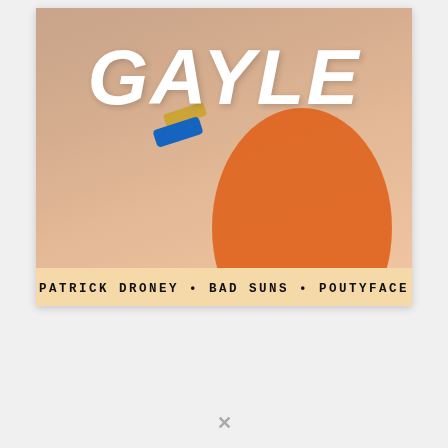[Figure (photo): A polaroid-style concert poster for GAYLE featuring a close-up photo with skin tones and orange fabric, with a blue bracelet and gold bracelet visible. The large white bold italic text 'GAYLE' overlays the top of the photo. Below the photo a tan/peach strip reads 'PATRICK DRONEY • BAD SUNS • POUTYFACE' in black monospaced uppercase letters.]
GAYLE
PATRICK DRONEY • BAD SUNS • POUTYFACE